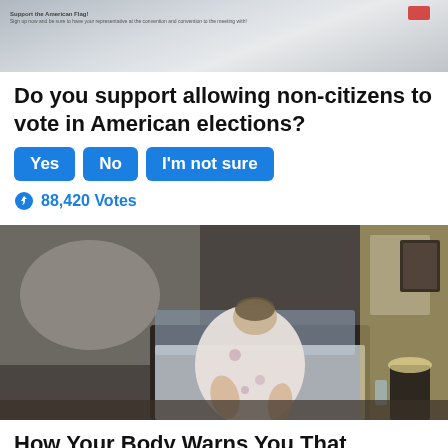[Figure (photo): Top portion of a document or ballot image, partially visible at the top of the page]
Do you support allowing non-citizens to vote in American elections?
Yes | No | I'm not sure
88,420 Votes
[Figure (photo): An elderly woman in a floral robe sitting on the edge of a bed, looking downward, in a dimly lit bedroom]
How Your Body Warns You That Dementia Is Forming